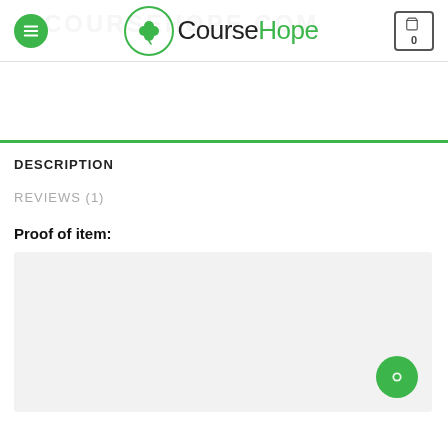CourseHope
DESCRIPTION
REVIEWS (1)
Proof of item:
[Figure (other): Light grey placeholder image box for proof of item content]